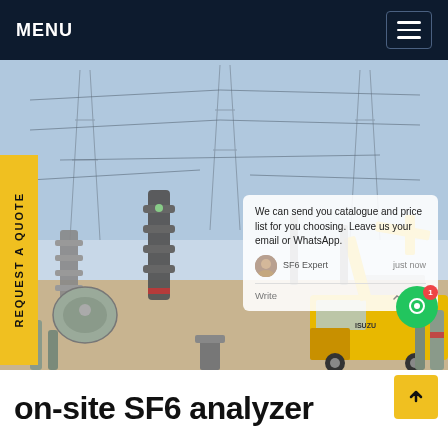MENU
[Figure (photo): Electrical substation with high-voltage equipment, transmission towers, insulators, and a yellow ISUZU utility truck with an aerial lift platform parked among the equipment. A chat overlay popup is visible on the right side of the image.]
REQUEST A QUOTE
We can send you catalogue and price list for you choosing. Leave us your email or WhatsApp.
SF6 Expert  just now
Write
on-site SF6 analyzer